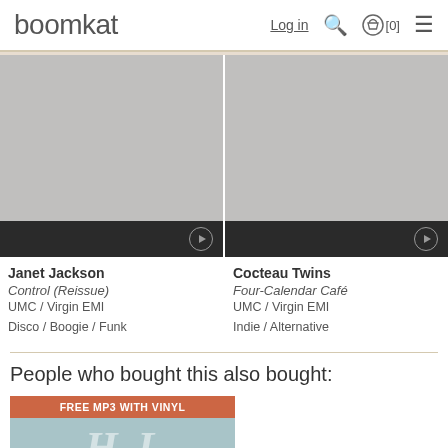boomkat  Log in  [0]
[Figure (photo): Album art placeholder grey square for Janet Jackson Control (Reissue)]
Janet Jackson
Control (Reissue)
UMC / Virgin EMI
Disco / Boogie / Funk
[Figure (photo): Album art placeholder grey square for Cocteau Twins Four-Calendar Café]
Cocteau Twins
Four-Calendar Café
UMC / Virgin EMI
Indie / Alternative
People who bought this also bought:
[Figure (photo): Promo card with FREE MP3 WITH VINYL badge and partial album art in blue-grey]